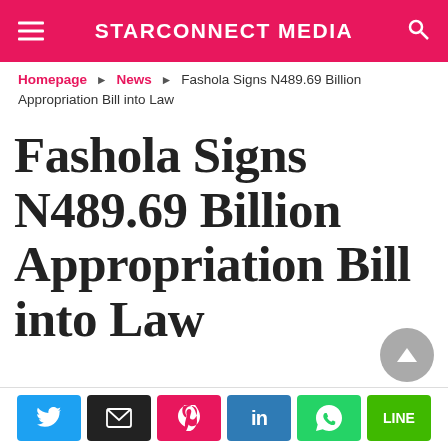STARCONNECT MEDIA
Homepage ▶ News ▶ Fashola Signs N489.69 Billion Appropriation Bill into Law
Fashola Signs N489.69 Billion Appropriation Bill into Law